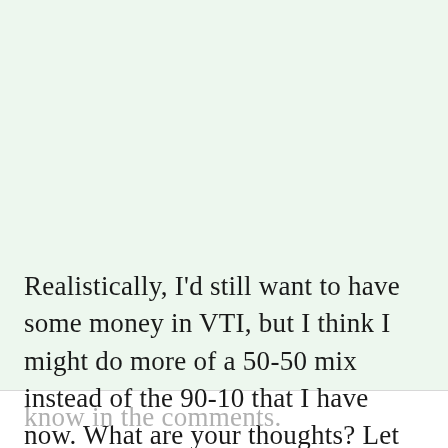Realistically, I'd still want to have some money in VTI, but I think I might do more of a 50-50 mix instead of the 90-10 that I have now. What are your thoughts? Let me
know in the comments.